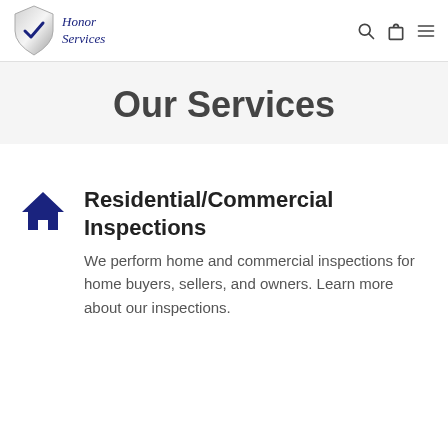Honor Services
Our Services
Residential/Commercial Inspections
We perform home and commercial inspections for home buyers, sellers, and owners. Learn more about our inspections.